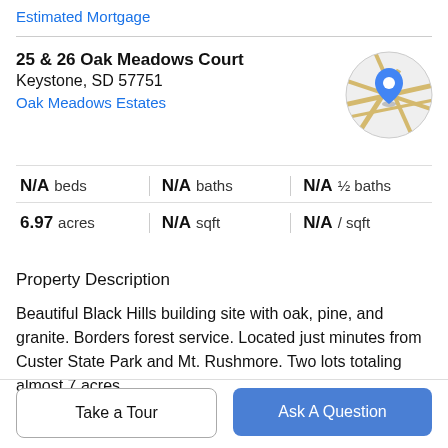Estimated Mortgage
25 & 26 Oak Meadows Court
Keystone, SD 57751
Oak Meadows Estates
[Figure (map): Circular map thumbnail with a blue location pin marker]
| Stat | Value |
| --- | --- |
| beds | N/A |
| baths | N/A |
| ½ baths | N/A |
| acres | 6.97 |
| sqft | N/A |
| / sqft | N/A |
Property Description
Beautiful Black Hills building site with oak, pine, and granite. Borders forest service. Located just minutes from Custer State Park and Mt. Rushmore. Two lots totaling almost 7 acres.
Take a Tour
Ask A Question